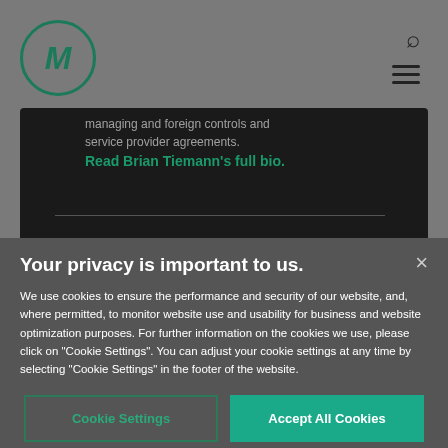[Figure (logo): Circular logo with stylized M letter in dark teal/green color]
managing and foreign controls and service provider agreements. Read Brian Tiemann's full bio.
Your privacy is important to us.
We use cookies to ensure the performance and security of our website, and, where permitted, to monitor website use and usability for business and website optimization purposes. For further information on the cookies we use, please click on "Cookie Settings". You can adjust your cookie settings at any time by selecting "Cookie Settings" in the footer of the website.
Cookie Settings
Accept All Cookies